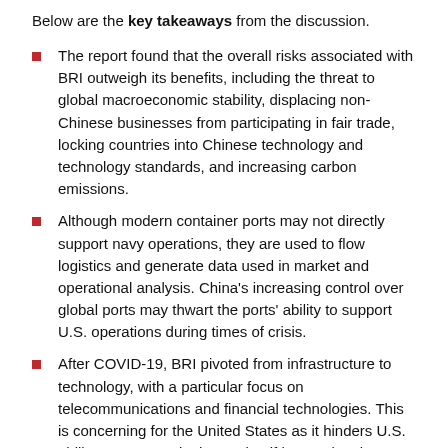Below are the key takeaways from the discussion.
The report found that the overall risks associated with BRI outweigh its benefits, including the threat to global macroeconomic stability, displacing non-Chinese businesses from participating in fair trade, locking countries into Chinese technology and technology standards, and increasing carbon emissions.
Although modern container ports may not directly support navy operations, they are used to flow logistics and generate data used in market and operational analysis. China's increasing control over global ports may thwart the ports' ability to support U.S. operations during times of crisis.
After COVID-19, BRI pivoted from infrastructure to technology, with a particular focus on telecommunications and financial technologies. This is concerning for the United States as it hinders U.S. ability to compete in the market if international technology